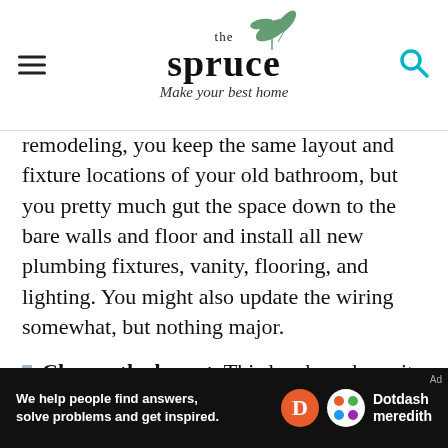the spruce — Make your best home
remodeling, you keep the same layout and fixture locations of your old bathroom, but you pretty much gut the space down to the bare walls and floor and install all new plumbing fixtures, vanity, flooring, and lighting. You might also update the wiring somewhat, but nothing major.
Change the layout. This level can be quite a bit more involved than a makeover or even a fixture replacement because it includes moving fixtures, like the tub/shower, the toilet, or the sink. Layout changes also